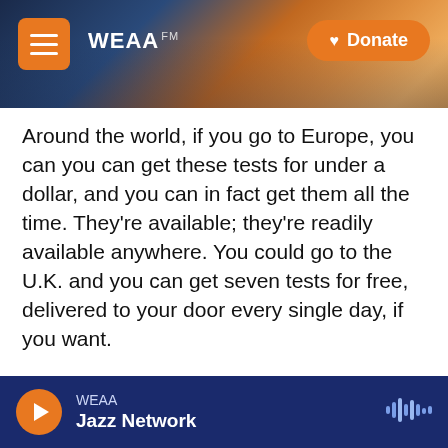[Figure (screenshot): WEAA radio website header with city skyline background, hamburger menu button, WEAA logo, and orange Donate button]
Around the world, if you go to Europe, you can you can get these tests for under a dollar, and you can in fact get them all the time. They're available; they're readily available anywhere. You could go to the U.K. and you can get seven tests for free, delivered to your door every single day, if you want.
The reason it's so expensive here is because we have no market competition. ... The actual cost of the devices is very inexpensive. But what we need is market competition. We need more producers to get into the United States market. And to do that, we have to release some of the regulatory barriers
WEAA Jazz Network